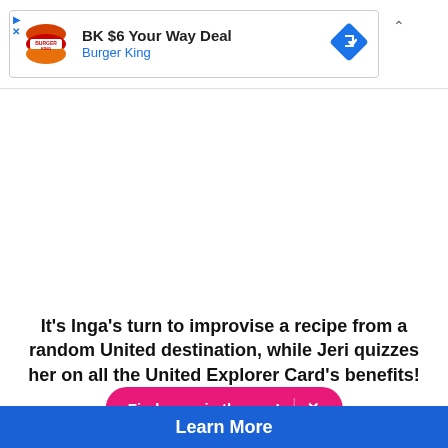[Figure (screenshot): Burger King advertisement banner with logo, text 'BK $6 Your Way Deal' and 'Burger King', a blue navigation/directions diamond icon, and playback/close controls]
It's Inga's turn to improvise a recipe from a random United destination, while Jeri quizzes her on all the United Explorer Card's benefits!
Find more in the app! ✕
Learn More